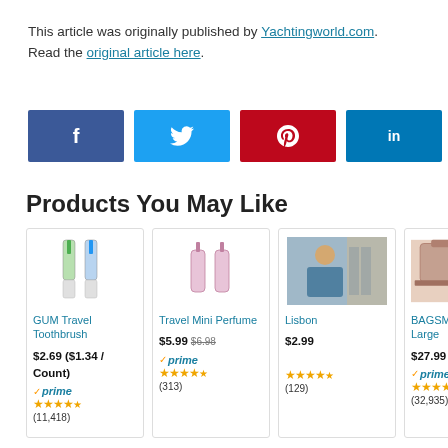This article was originally published by Yachtingworld.com. Read the original article here.
[Figure (infographic): Social sharing buttons: Facebook (blue), Twitter (light blue), Pinterest (red), LinkedIn (dark blue)]
Products You May Like
[Figure (photo): Product card: GUM Travel Toothbrush, $2.69 ($1.34 / Count), Prime, 4.5 stars, (11,418) reviews]
[Figure (photo): Product card: Travel Mini Perfume, $5.99 (was $6.98), Prime, 4.5 stars, (313) reviews]
[Figure (photo): Product card: Lisbon, $2.99, 4.5 stars, (129) reviews]
[Figure (photo): Product card: BAGSMART Large, $27.99, Prime, stars, (32,935) reviews — partially visible]